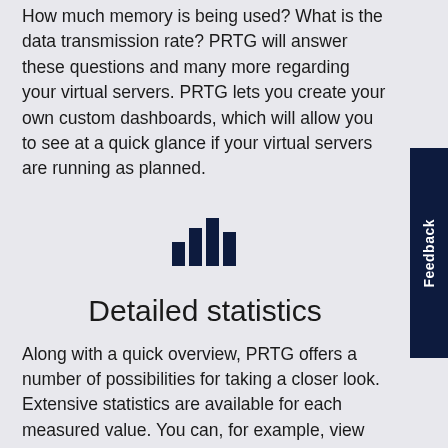How much memory is being used? What is the data transmission rate? PRTG will answer these questions and many more regarding your virtual servers. PRTG lets you create your own custom dashboards, which will allow you to see at a quick glance if your virtual servers are running as planned.
[Figure (illustration): Bar chart icon in dark navy blue, representing statistics/data visualization]
Detailed statistics
Along with a quick overview, PRTG offers a number of possibilities for taking a closer look. Extensive statistics are available for each measured value. You can, for example, view the average CPU load of the host or the amount of downtime that has occurred during the current year.
Upon request, PRTG will automatically send reports to your colleagues or superiors.